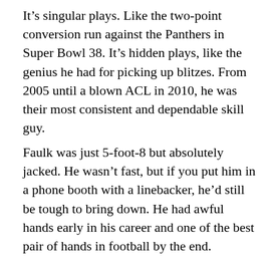It's singular plays. Like the two-point conversion run against the Panthers in Super Bowl 38. It's hidden plays, like the genius he had for picking up blitzes. From 2005 until a blown ACL in 2010, he was their most consistent and dependable skill guy.
Faulk was just 5-foot-8 but absolutely jacked. He wasn't fast, but if you put him in a phone booth with a linebacker, he'd still be tough to bring down. He had awful hands early in his career and one of the best pair of hands in football by the end.